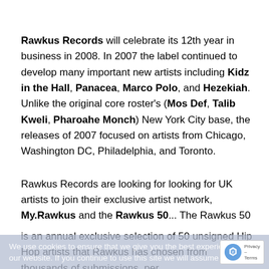Rawkus Records will celebrate its 12th year in business in 2008. In 2007 the label continued to develop many important new artists including Kidz in the Hall, Panacea, Marco Polo, and Hezekiah. Unlike the original core roster's (Mos Def, Talib Kweli, Pharoahe Monch) New York City base, the releases of 2007 focused on artists from Chicago, Washington DC, Philadelphia, and Toronto.

Rawkus Records are looking for looking for UK artists to join their exclusive artist network, My.Rawkus and the Rawkus 50... The Rawkus 50 is an annual exclusive selection of 50 unsigned Hip Hop artists that Rawkus has chosen from thousands of submissions, per
We use cookies to ensure that we give you the best experience on our website. If you continue to use this site we will assume that you